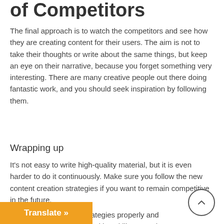of Competitors
The final approach is to watch the competitors and see how they are creating content for their users. The aim is not to take their thoughts or write about the same things, but keep an eye on their narrative, because you forget something very interesting. There are many creative people out there doing fantastic work, and you should seek inspiration by following them.
Wrapping up
It's not easy to write high-quality material, but it is even harder to do it continuously. Make sure you follow the new content creation strategies if you want to remain competitive in the future.
Follow these tips and strategies properly and take your writing skills to another